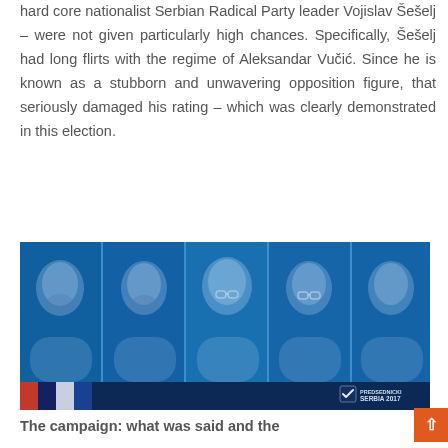hard core nationalist Serbian Radical Party leader Vojislav Šešelj – were not given particularly high chances. Specifically, Šešelj had long flirts with the regime of Aleksandar Vučić. Since he is known as a stubborn and unwavering opposition figure, that seriously damaged his rating – which was clearly demonstrated in this election.
[Figure (photo): Composite photo of five male political candidates side by side, with a blue color overlay. Bottom bar with Serbian flag colors (red, blue, white) and a checkmark logo reading 'SERBIA 2017'.]
The campaign: what was said and the